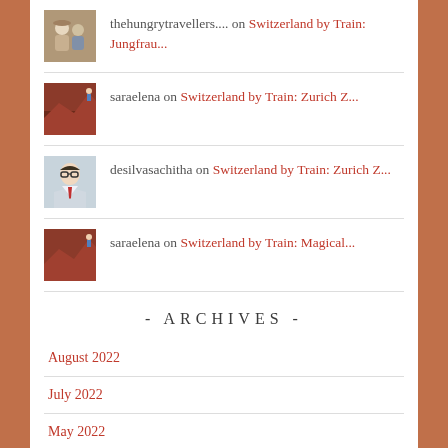thehungrytravellers.... on Switzerland by Train: Jungfrau...
saraelena on Switzerland by Train: Zurich Z...
desilvasachitha on Switzerland by Train: Zurich Z...
saraelena on Switzerland by Train: Magical...
- ARCHIVES -
August 2022
July 2022
May 2022